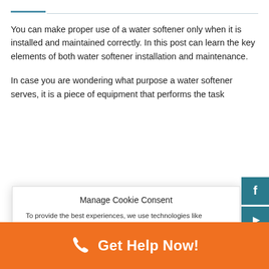You can make proper use of a water softener only when it is installed and maintained correctly. In this post can learn the key elements of both water softener installation and maintenance.
In case you are wondering what purpose a water softener serves, it is a piece of equipment that performs the task
Manage Cookie Consent
To provide the best experiences, we use technologies like cookies to store and/or access device information. Consenting to these technologies will allow us to process data such as browsing behavior or unique IDs on this site. Not consenting or withdrawing consent, may adversely affect certain features and functions.
Accept
Get Help Now!